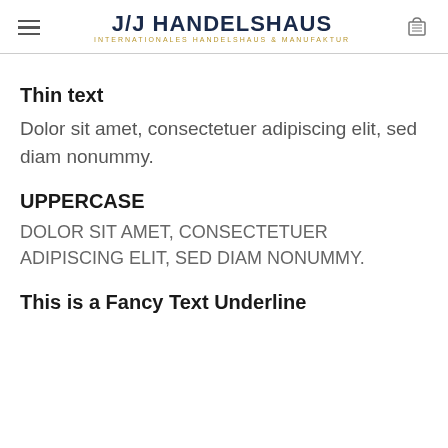J/J HANDELSHAUS — INTERNATIONALES HANDELSHAUS & MANUFAKTUR
Thin text
Dolor sit amet, consectetuer adipiscing elit, sed diam nonummy.
UPPERCASE
DOLOR SIT AMET, CONSECTETUER ADIPISCING ELIT, SED DIAM NONUMMY.
This is a Fancy Text Underline